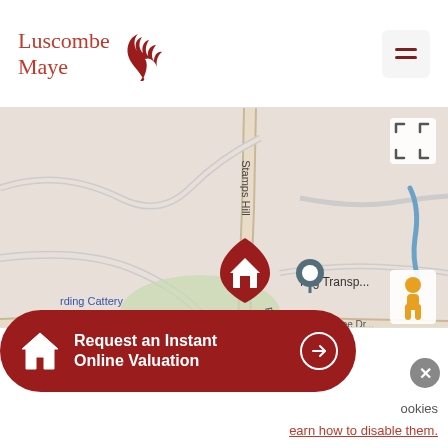[Figure (logo): Luscombe Maye logo with red oak leaf icon and red serif text]
[Figure (map): Google Maps screenshot showing Brixton area with Stamps Hill, Tapps Ln, Red Lion Hill, A379, Saint Mary's Church Brixton, Nrg Transport, Cherry Tree Dr, rding Cattery, r Cars, Lawns, Brixton label, and a dark red house pin marker]
[Figure (infographic): Dark red pill-shaped button with house icon, text 'Request an Instant Online Valuation' and a right-arrow circle button]
ookies
earn how to disable them.